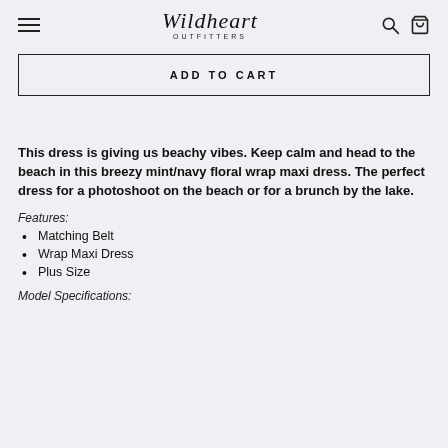Wildheart Outfitters
ADD TO CART
This dress is giving us beachy vibes. Keep calm and head to the beach in this breezy mint/navy floral wrap maxi dress. The perfect dress for a photoshoot on the beach or for a brunch by the lake.
Features:
Matching Belt
Wrap Maxi Dress
Plus Size
Model Specifications: